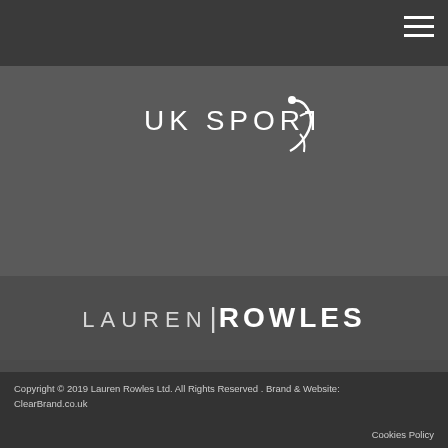[Figure (logo): UK Sport logo with stylized runner figure and text 'UK SPORT']
LAUREN | ROWLES
HOME
ACHIEVEMENTS
NEWS
SPEAKING
CONTACT
Copyright © 2019 Lauren Rowles Ltd. All Rights Reserved . Brand & Website: ClearBrand.co.uk
Cookies Policy